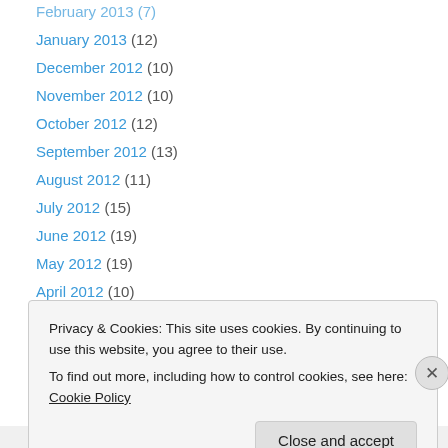January 2013 (12)
December 2012 (10)
November 2012 (10)
October 2012 (12)
September 2012 (13)
August 2012 (11)
July 2012 (15)
June 2012 (19)
May 2012 (19)
April 2012 (10)
March 2012 (5)
February 2012 (14)
January 2012 (6)
Privacy & Cookies: This site uses cookies. By continuing to use this website, you agree to their use. To find out more, including how to control cookies, see here: Cookie Policy
Close and accept